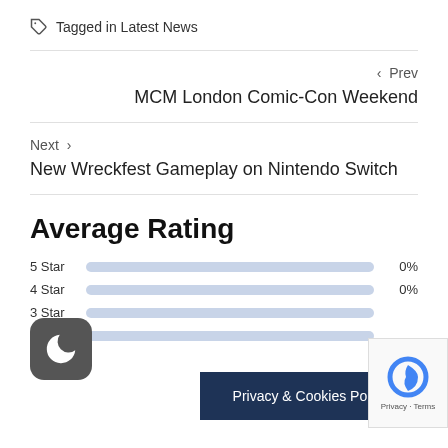Tagged in Latest News
< Prev
MCM London Comic-Con Weekend
Next >
New Wreckfest Gameplay on Nintendo Switch
Average Rating
5 Star   0%
4 Star   0%
3 Star
2 Star
Privacy & Cookies Policy